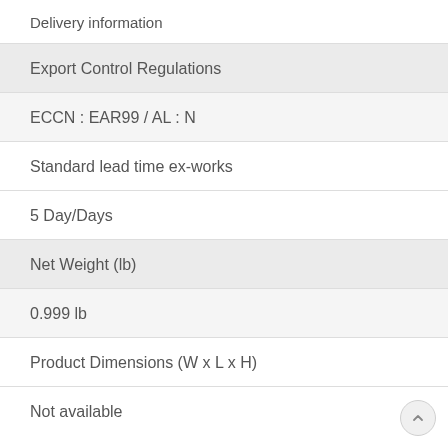Delivery information
| Export Control Regulations |  |
| --- | --- |
| ECCN : EAR99 / AL : N |  |
| Standard lead time ex-works |  |
| --- | --- |
| 5 Day/Days |  |
| Net Weight (lb) |  |
| --- | --- |
| 0.999 lb |  |
| Product Dimensions (W x L x H) |  |
| --- | --- |
| Not available |  |